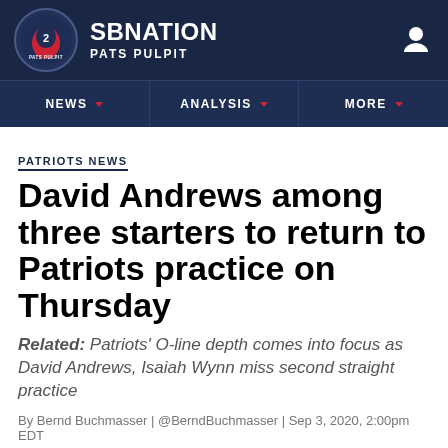SB NATION PATS PULPIT
PATRIOTS NEWS
David Andrews among three starters to return to Patriots practice on Thursday
Related: Patriots' O-line depth comes into focus as David Andrews, Isaiah Wynn miss second straight practice
By Bernd Buchmasser | @BerndBuchmasser | Sep 3, 2020, 2:00pm EDT